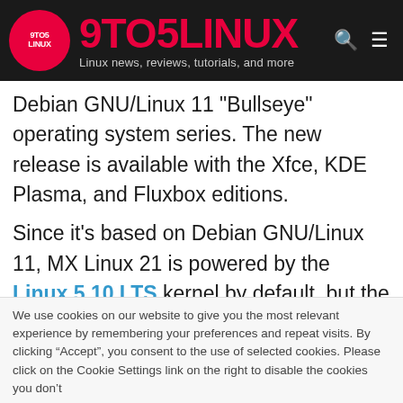[Figure (logo): 9to5Linux website header with red logo circle, 9TO5LINUX brand name in red, tagline 'Linux news, reviews, tutorials, and more', search and menu icons on dark background]
Debian GNU/Linux 11 "Bullseye" operating system series. The new release is available with the Xfce, KDE Plasma, and Fluxbox editions.
Since it's based on Debian GNU/Linux 11, MX Linux 21 is powered by the Linux 5.10 LTS kernel by default, but the developers made a special version for those who need to run MX Linux on their hardware with a newer kernel version,
We use cookies on our website to give you the most relevant experience by remembering your preferences and repeat visits. By clicking “Accept”, you consent to the use of selected cookies. Please click on the Cookie Settings link on the right to disable the cookies you don’t